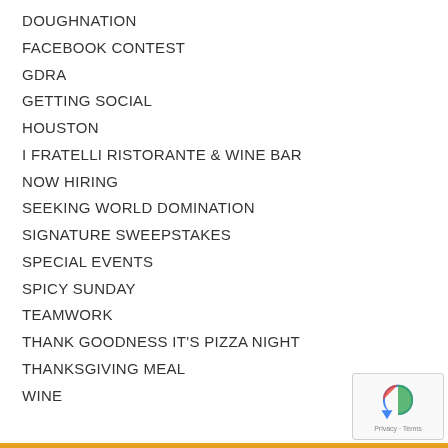DOUGHNATION
FACEBOOK CONTEST
GDRA
GETTING SOCIAL
HOUSTON
I FRATELLI RISTORANTE & WINE BAR
NOW HIRING
SEEKING WORLD DOMINATION
SIGNATURE SWEEPSTAKES
SPECIAL EVENTS
SPICY SUNDAY
TEAMWORK
THANK GOODNESS IT'S PIZZA NIGHT
THANKSGIVING MEAL
WINE